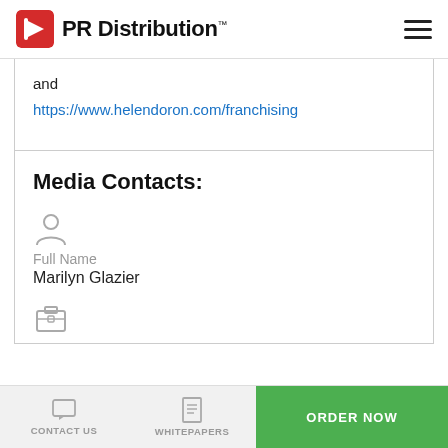PR Distribution™
and https://www.helendoron.com/franchising
Media Contacts:
Full Name
Marilyn Glazier
CONTACT US   WHITEPAPERS   ORDER NOW